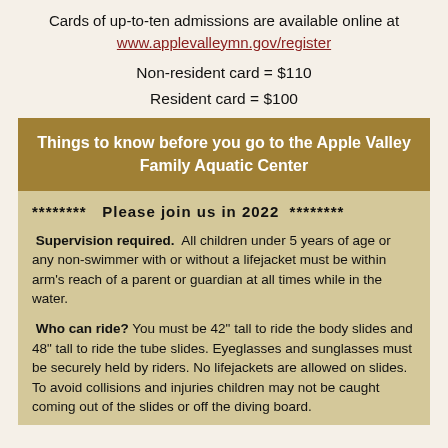Cards of up-to-ten admissions are available online at www.applevalleymn.gov/register
Non-resident card = $110
Resident card = $100
Things to know before you go to the Apple Valley Family Aquatic Center
******** Please join us in 2022 ********
Supervision required. All children under 5 years of age or any non-swimmer with or without a lifejacket must be within arm's reach of a parent or guardian at all times while in the water.
Who can ride? You must be 42" tall to ride the body slides and 48" tall to ride the tube slides. Eyeglasses and sunglasses must be securely held by riders. No lifejackets are allowed on slides. To avoid collisions and injuries children may not be caught coming out of the slides or off the diving board.